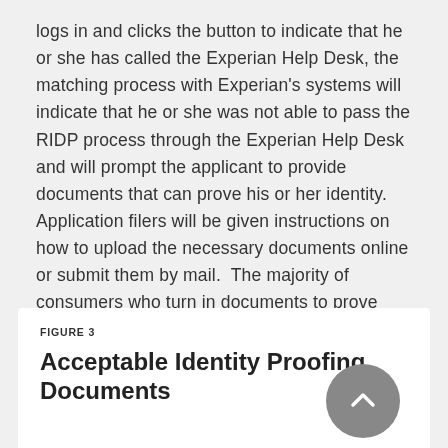logs in and clicks the button to indicate that he or she has called the Experian Help Desk, the matching process with Experian's systems will indicate that he or she was not able to pass the RIDP process through the Experian Help Desk and will prompt the applicant to provide documents that can prove his or her identity. Application filers will be given instructions on how to upload the necessary documents online or submit them by mail. The majority of consumers who turn in documents to prove their identity mail them rather than uploading them electronically. Until the required documents are submitted and processed, application filers cannot submit an online application. Figure 3 lists the acceptable identity documents.
FIGURE 3
Acceptable Identity Proofing Documents